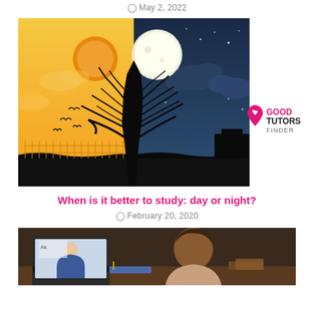May 2, 2022
[Figure (illustration): Split day/night illustration showing a tree silhouette: left half has orange/yellow daytime sky with an orange sun, birds, and a fence; right half has dark blue night sky with a full moon, clouds, and stars.]
[Figure (logo): Good Tutors Finder logo: pink map pin icon with heart, text GOOD TUTORS in pink and black, FINDER in gray below.]
When is it better to study: day or night?
February 20, 2020
[Figure (photo): Photo of a student sitting at a desk with a laptop showing a female tutor/teacher on screen, with books and a pencil case visible. The student's back is partially visible.]